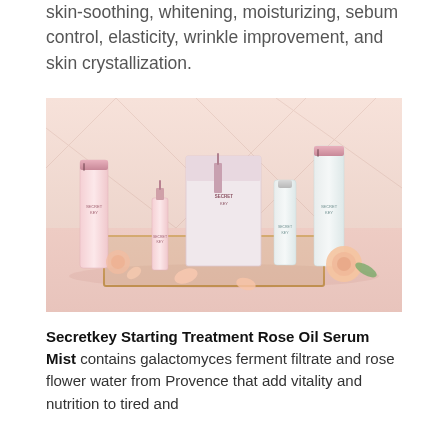skin-soothing, whitening, moisturizing, sebum control, elasticity, wrinkle improvement, and skin crystallization.
[Figure (photo): Product photo of Secretkey Starting Treatment Rose Oil Serum Mist skincare line arranged in a gold tray with roses and rose petals on a pink surface. Multiple products including bottles, tubes, and boxes are visible.]
Secretkey Starting Treatment Rose Oil Serum Mist contains galactomyces ferment filtrate and rose flower water from Provence that add vitality and nutrition to tired and